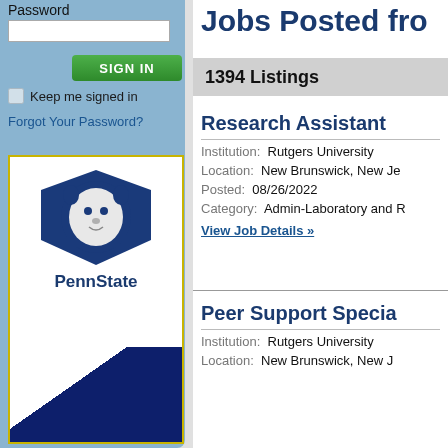Password
SIGN IN
Keep me signed in
Forgot Your Password?
[Figure (logo): Penn State logo with lion mascot in blue shield and 'PennState' text, on white background with decorative diagonal navy blue area]
Jobs Posted fro
1394 Listings
Research Assistant
Institution: Rutgers University
Location: New Brunswick, New Je
Posted: 08/26/2022
Category: Admin-Laboratory and R
View Job Details »
Peer Support Specia
Institution: Rutgers University
Location: New Brunswick, New J